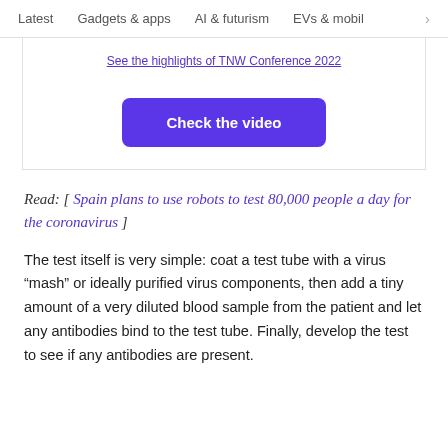Latest   Gadgets & apps   AI & futurism   EVs & mobil  >
See the highlights of TNW Conference 2022
[Figure (other): Purple button labeled 'Check the video']
Read: [ Spain plans to use robots to test 80,000 people a day for the coronavirus ]
The test itself is very simple: coat a test tube with a virus “mash” or ideally purified virus components, then add a tiny amount of a very diluted blood sample from the patient and let any antibodies bind to the test tube. Finally, develop the test to see if any antibodies are present.